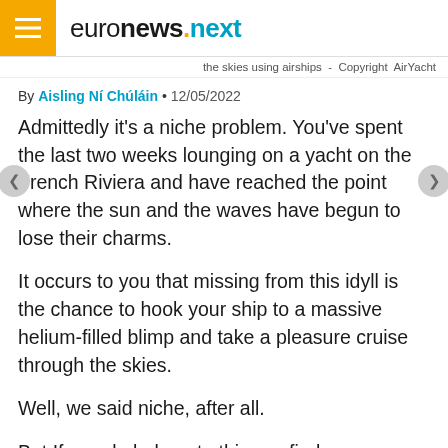euronews.next
the skies using airships  -  Copyright  AirYacht
By Aisling Ní Chúláin • 12/05/2022
Admittedly it's a niche problem. You've spent the last two weeks lounging on a yacht on the French Riviera and have reached the point where the sun and the waves have begun to lose their charms.
It occurs to you that missing from this idyll is the chance to hook your ship to a massive helium-filled blimp and take a pleasure cruise through the skies.
Well, we said niche, after all.
But If you do belong to this rarefied group, a Swiss company AirYacht, co-founded by Guillaume Hoddé and Mathieu Ozanne, is trying to make this ambitious